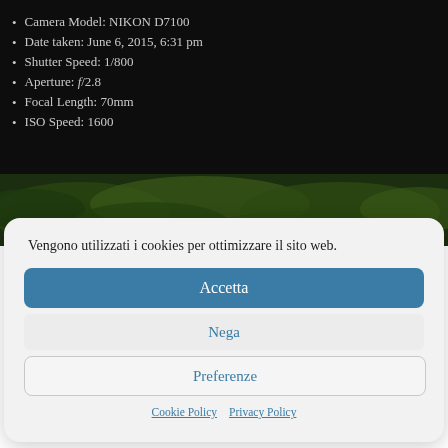Camera Model: NIKON D7100
Date taken: June 6, 2015, 6:31 pm
Shutter Speed: 1/800
Aperture: f/2.8
Focal Length: 70mm
ISO Speed: 1600
[Figure (photo): Dark green foliage / forest background strip]
Vengono utilizzati i cookies per ottimizzare il sito web.
Accetta
Nega
Preferenze
Cookie Policy  Privacy Policy